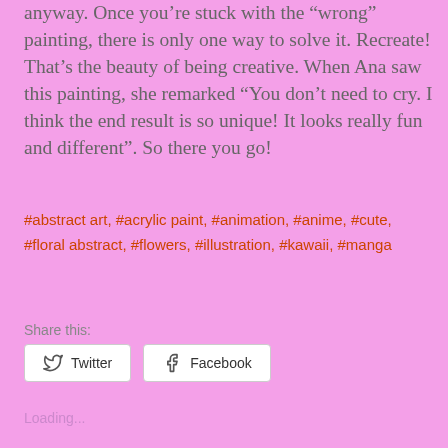anyway. Once you’re stuck with the “wrong” painting, there is only one way to solve it. Recreate! That’s the beauty of being creative. When Ana saw this painting, she remarked “You don’t need to cry. I think the end result is so unique! It looks really fun and different”. So there you go!
#abstract art, #acrylic paint, #animation, #anime, #cute, #floral abstract, #flowers, #illustration, #kawaii, #manga
Share this:
Twitter   Facebook
Loading...